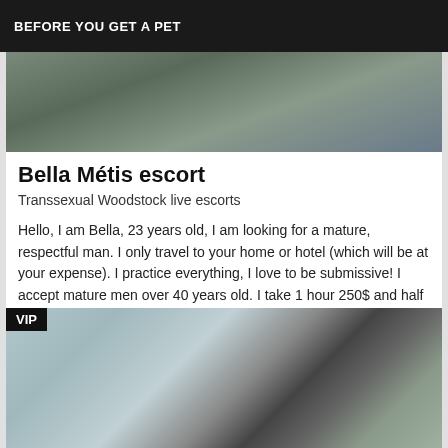BEFORE YOU GET A PET
[Figure (photo): Top portion of a photo, partially cropped, showing dark tones]
Bella Métis escort
Transsexual Woodstock live escorts
Hello, I am Bella, 23 years old, I am looking for a mature, respectful man. I only travel to your home or hotel (which will be at your expense). I practice everything, I love to be submissive! I accept mature men over 40 years old. I take 1 hour 250$ and half an hour at 200$, non-negotiable price. I don't answer hidden calls. Thank you and see you soon
[Figure (photo): Photo with VIP badge overlay, showing a partial image of a phone or device, light blue and grey tones]